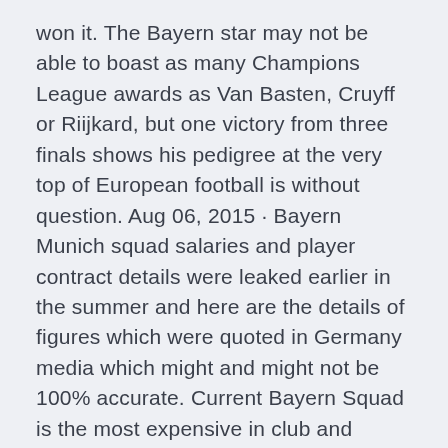won it. The Bayern star may not be able to boast as many Champions League awards as Van Basten, Cruyff or Riijkard, but one victory from three finals shows his pedigree at the very top of European football is without question. Aug 06, 2015 · Bayern Munich squad salaries and player contract details were leaked earlier in the summer and here are the details of figures which were quoted in Germany media which might and might not be 100% accurate. Current Bayern Squad is the most expensive in club and Bundesliga history.